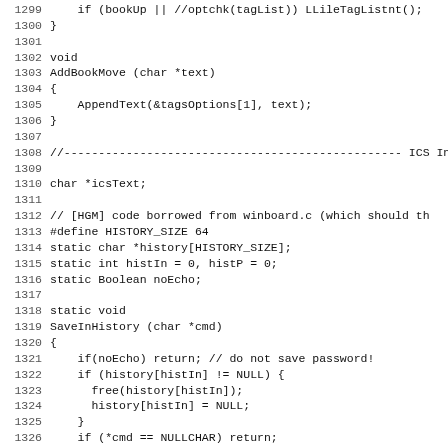Source code listing lines 1299-1331, showing C functions AddBookMove and SaveInHistory with ICS Interface section comment